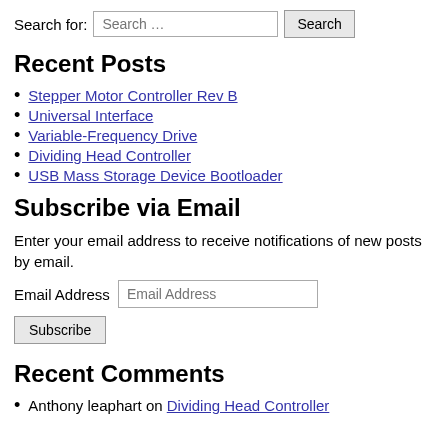Search for:
Recent Posts
Stepper Motor Controller Rev B
Universal Interface
Variable-Frequency Drive
Dividing Head Controller
USB Mass Storage Device Bootloader
Subscribe via Email
Enter your email address to receive notifications of new posts by email.
Email Address
Recent Comments
Anthony leaphart on Dividing Head Controller